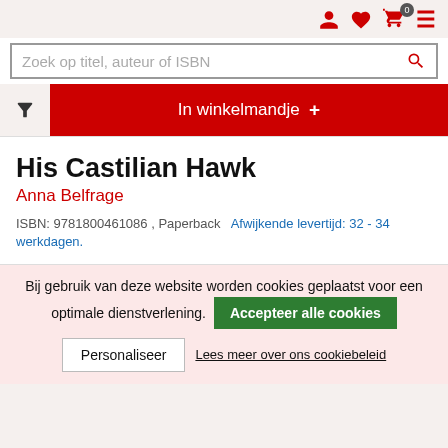Nav bar with user icon, heart icon, cart (0), hamburger menu
Zoek op titel, auteur of ISBN
In winkelmandje +
His Castilian Hawk
Anna Belfrage
ISBN: 9781800461086 , Paperback  Afwijkende levertijd: 32 - 34 werkdagen.
Bij gebruik van deze website worden cookies geplaatst voor een optimale dienstverlening.
Accepteer alle cookies
Personaliseer
Lees meer over ons cookiebeleid